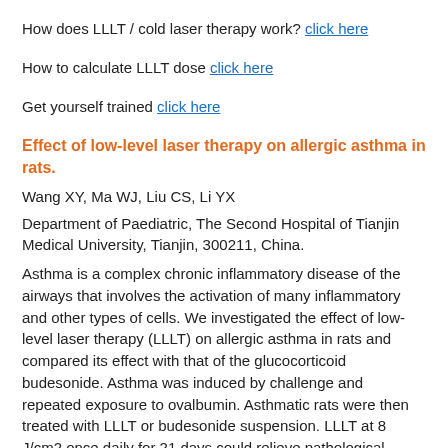How does LLLT / cold laser therapy work? click here
How to calculate LLLT dose click here
Get yourself trained click here
Effect of low-level laser therapy on allergic asthma in rats.
Wang XY, Ma WJ, Liu CS, Li YX
Department of Paediatric, The Second Hospital of Tianjin Medical University, Tianjin, 300211, China.
Asthma is a complex chronic inflammatory disease of the airways that involves the activation of many inflammatory and other types of cells. We investigated the effect of low-level laser therapy (LLLT) on allergic asthma in rats and compared its effect with that of the glucocorticoid budesonide. Asthma was induced by challenge and repeated exposure to ovalbumin. Asthmatic rats were then treated with LLLT or budesonide suspension. LLLT at 8 J/cm2 once daily for 21 days could relieve pathological damage and airway inflammation